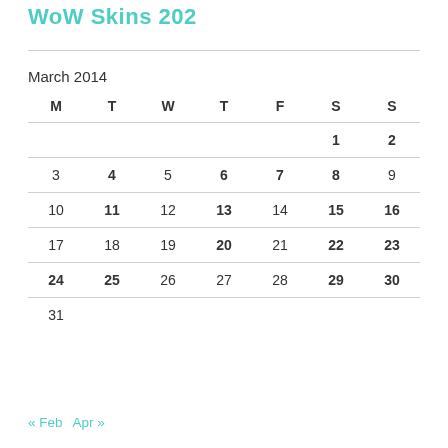WoW Skins 202
March 2014
| M | T | W | T | F | S | S |
| --- | --- | --- | --- | --- | --- | --- |
|  |  |  |  |  | 1 | 2 |
| 3 | 4 | 5 | 6 | 7 | 8 | 9 |
| 10 | 11 | 12 | 13 | 14 | 15 | 16 |
| 17 | 18 | 19 | 20 | 21 | 22 | 23 |
| 24 | 25 | 26 | 27 | 28 | 29 | 30 |
| 31 |  |  |  |  |  |  |
« Feb   Apr »